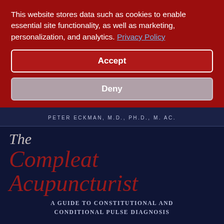This website stores data such as cookies to enable essential site functionality, as well as marketing, personalization, and analytics. Privacy Policy
Accept
Deny
PETER ECKMAN, M.D., PH.D., M. AC.
The Compleat Acupuncturist
A GUIDE TO CONSTITUTIONAL AND CONDITIONAL PULSE DIAGNOSIS